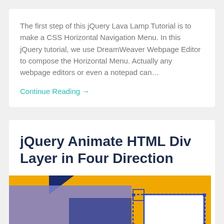The first step of this jQuery Lava Lamp Tutorial is to make a CSS Horizontal Navigation Menu. In this jQuery tutorial, we use DreamWeaver Webpage Editor to compose the Horizontal Menu. Actually any webpage editors or even a notepad can…
Continue Reading →
jQuery Animate HTML Div Layer in Four Direction
[Figure (screenshot): Screenshot showing a jQuery animation demo with a yellow background, a purple/blue rectangle div layer and a white box with blue border, representing a div being animated in four directions.]